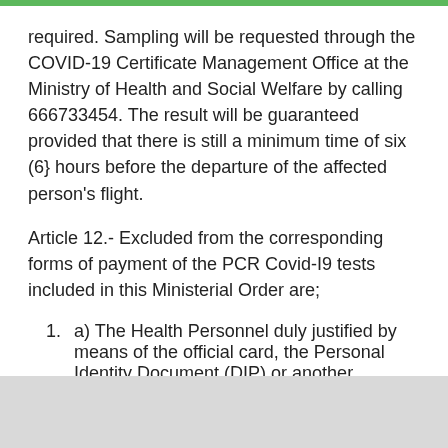required. Sampling will be requested through the COVID-19 Certificate Management Office at the Ministry of Health and Social Welfare by calling 666733454. The result will be guaranteed provided that there is still a minimum time of six (6} hours before the departure of the affected person's flight.
Article 12.- Excluded from the corresponding forms of payment of the PCR Covid-I9 tests included in this Ministerial Order are;
a) The Health Personnel duly justified by means of the official card, the Personal Identity Document (DIP) or another document that can prove their profession.